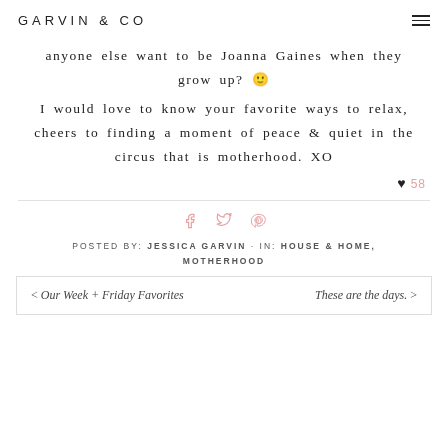GARVIN & CO
anyone else want to be Joanna Gaines when they grow up? 🙂
I would love to know your favorite ways to relax, cheers to finding a moment of peace & quiet in the circus that is motherhood. XO
♥ 58
[Figure (other): Social sharing icons: Facebook, Twitter, Pinterest in pink]
POSTED BY: JESSICA GARVIN · IN: HOUSE & HOME, MOTHERHOOD
< Our Week + Friday Favorites    These are the days. >